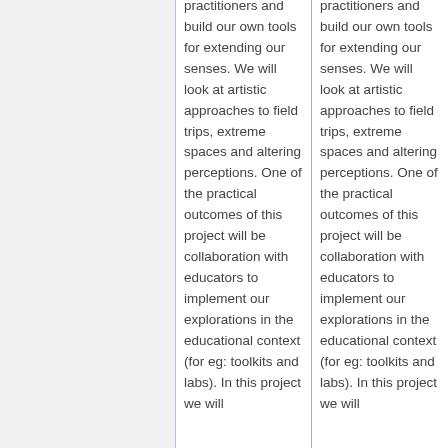practitioners and build our own tools for extending our senses. We will look at artistic approaches to field trips, extreme spaces and altering perceptions. One of the practical outcomes of this project will be collaboration with educators to implement our explorations in the educational context (for eg: toolkits and labs). In this project we will
practitioners and build our own tools for extending our senses. We will look at artistic approaches to field trips, extreme spaces and altering perceptions. One of the practical outcomes of this project will be collaboration with educators to implement our explorations in the educational context (for eg: toolkits and labs). In this project we will